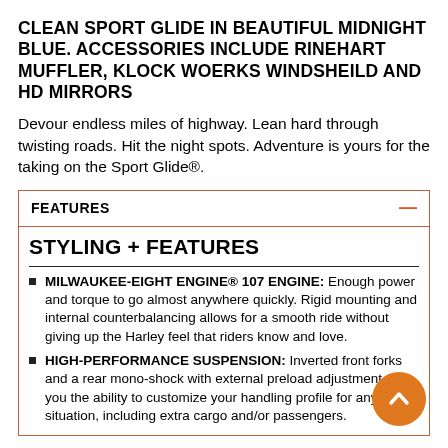CLEAN SPORT GLIDE IN BEAUTIFUL MIDNIGHT BLUE. ACCESSORIES INCLUDE RINEHART MUFFLER, KLOCK WOERKS WINDSHEILD AND HD MIRRORS
Devour endless miles of highway. Lean hard through twisting roads. Hit the night spots. Adventure is yours for the taking on the Sport Glide®.
FEATURES
STYLING + FEATURES
MILWAUKEE-EIGHT ENGINE® 107 ENGINE: Enough power and torque to go almost anywhere quickly. Rigid mounting and internal counterbalancing allows for a smooth ride without giving up the Harley feel that riders know and love.
HIGH-PERFORMANCE SUSPENSION: Inverted front forks and a rear mono-shock with external preload adjustment give you the ability to customize your handling profile for any situation, including extra cargo and/or passengers.